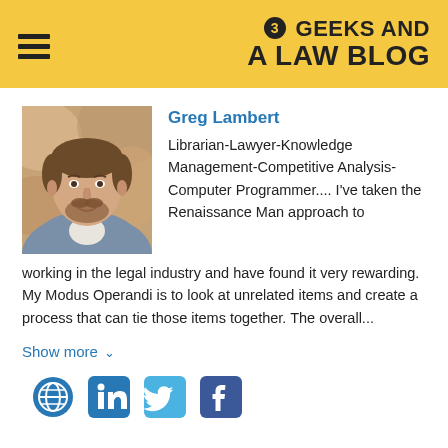3 GEEKS AND A LAW BLOG
[Figure (photo): Headshot photo of Greg Lambert, a man with short hair and a beard wearing a grey blazer]
Greg Lambert
Librarian-Lawyer-Knowledge Management-Competitive Analysis-Computer Programmer.... I've taken the Renaissance Man approach to working in the legal industry and have found it very rewarding. My Modus Operandi is to look at unrelated items and create a process that can tie those items together. The overall...
Show more
[Figure (infographic): Social media icons: globe/website, LinkedIn, Twitter, Facebook]